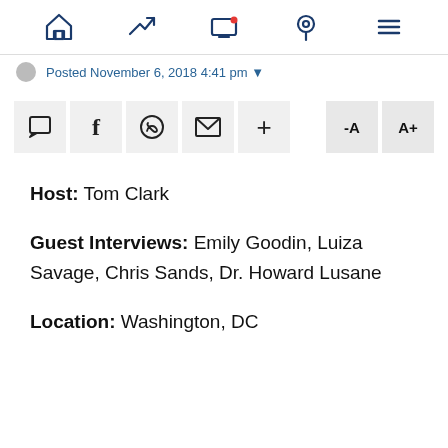Navigation bar with home, trending, screen, location, menu icons
Posted November 6, 2016 4:41 pm
[Figure (screenshot): Social sharing toolbar with comment, Facebook, WhatsApp, email, plus buttons, and font size controls -A and A+]
Host: Tom Clark
Guest Interviews: Emily Goodin, Luiza Savage, Chris Sands, Dr. Howard Lusane
Location: Washington, DC